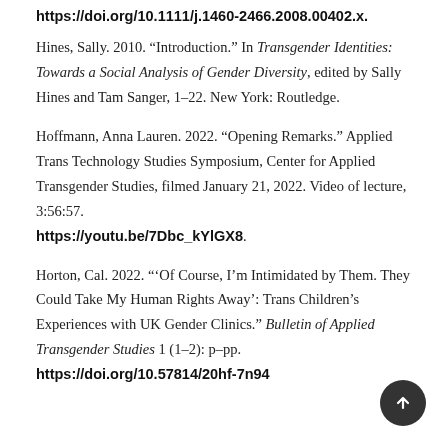https://doi.org/10.1111/j.1460-2466.2008.00402.x.
Hines, Sally. 2010. “Introduction.” In Transgender Identities: Towards a Social Analysis of Gender Diversity, edited by Sally Hines and Tam Sanger, 1–22. New York: Routledge.
Hoffmann, Anna Lauren. 2022. “Opening Remarks.” Applied Trans Technology Studies Symposium, Center for Applied Transgender Studies, filmed January 21, 2022. Video of lecture, 3:56:57. https://youtu.be/7Dbc_kYlGX8.
Horton, Cal. 2022. “‘Of Course, I’m Intimidated by Them. They Could Take My Human Rights Away’: Trans Children’s Experiences with UK Gender Clinics.” Bulletin of Applied Transgender Studies 1 (1–2): p–pp. https://doi.org/10.57814/20hf-7n94